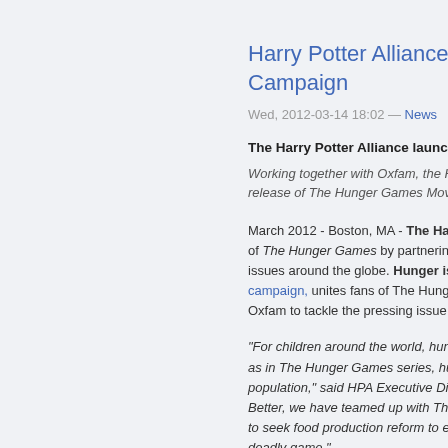Harry Potter Alliance: t… Campaign
Wed, 2012-03-14 18:02 — News
The Harry Potter Alliance launche…
Working together with Oxfam, the H… release of The Hunger Games Movie…
March 2012 - Boston, MA - The Har… of The Hunger Games by partnering… issues around the globe. Hunger is … campaign, unites fans of The Hunge… Oxfam to tackle the pressing issue o…
"For children around the world, hung… as in The Hunger Games series, hu… population," said HPA Executive Dire… Better, we have teamed up with The… to seek food production reform to en… deadly game."